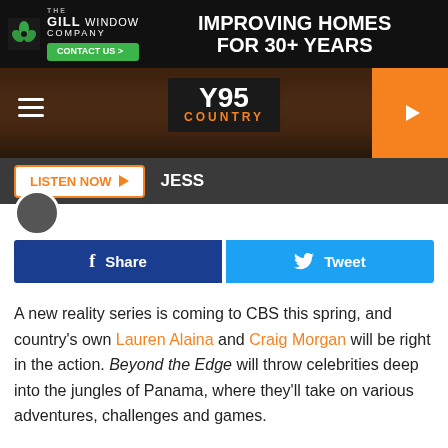[Figure (screenshot): Ad banner for The Gill Window Company with text IMPROVING HOMES FOR 30+ YEARS and CONTACT US button]
[Figure (screenshot): Y95 Country radio station navigation bar with hamburger menu, Y95 COUNTRY logo, and orange play button]
[Figure (screenshot): Listen Now button bar with JESS label]
[Figure (screenshot): Facebook Share and Twitter Tweet social buttons]
A new reality series is coming to CBS this spring, and country's own Lauren Alaina and Craig Morgan will be right in the action. Beyond the Edge will throw celebrities deep into the jungles of Panama, where they'll take on various adventures, challenges and games.
As a bonus, it's all in the name of charity.